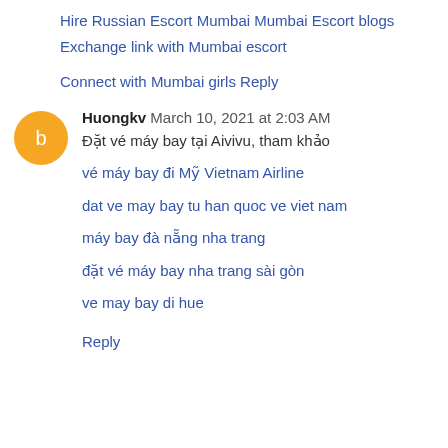Hire Russian Escort Mumbai
Mumbai Escort blogs
Exchange link with Mumbai escort
Connect with Mumbai girls
Reply
Huongkv  March 10, 2021 at 2:03 AM
Đặt vé máy bay tại Aivivu, tham khảo
vé máy bay đi Mỹ Vietnam Airline
dat ve may bay tu han quoc ve viet nam
máy bay đà nẵng nha trang
đặt vé máy bay nha trang sài gòn
ve may bay di hue
Reply